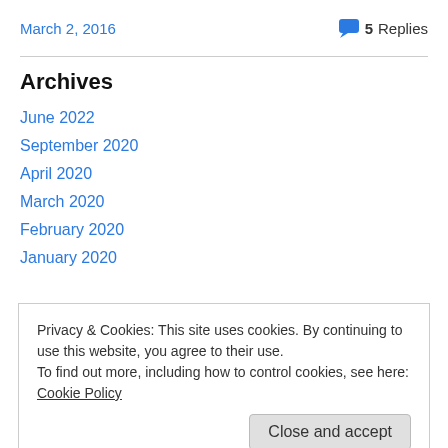March 2, 2016
5 Replies
Archives
June 2022
September 2020
April 2020
March 2020
February 2020
January 2020
Privacy & Cookies: This site uses cookies. By continuing to use this website, you agree to their use. To find out more, including how to control cookies, see here: Cookie Policy
Close and accept
July 2018